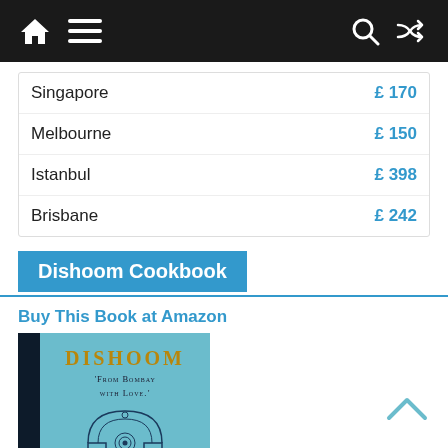Navigation bar with home, menu, search, and shuffle icons
| City | Price |
| --- | --- |
| Singapore | £170 |
| Melbourne | £150 |
| Istanbul | £398 |
| Brisbane | £242 |
Dishoom Cookbook
Buy This Book at Amazon
[Figure (photo): Dishoom cookbook cover with teal/turquoise background, title DISHOOM in gold letters, subtitle 'From Bombay with Love', and decorative arch illustration]